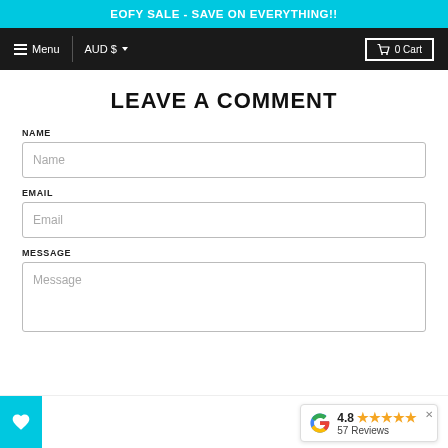EOFY SALE - SAVE ON EVERYTHING!!
Menu  AUD $  0 Cart
LEAVE A COMMENT
NAME
Name
EMAIL
Email
MESSAGE
Message
[Figure (other): Google review widget showing 4.8 stars and 57 Reviews]
[Figure (other): Teal wishlist heart button]